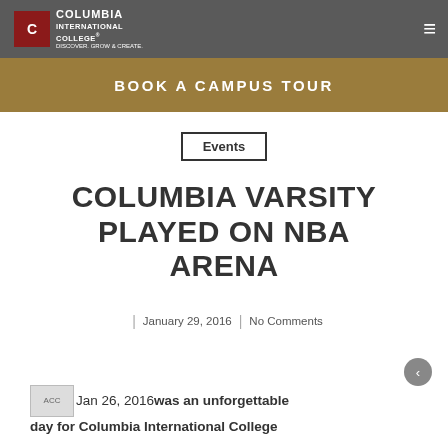Columbia International College
BOOK A CAMPUS TOUR
Events
COLUMBIA VARSITY PLAYED ON NBA ARENA
| January 29, 2016 | No Comments
Jan 26, 2016was an unforgettable day for Columbia International College